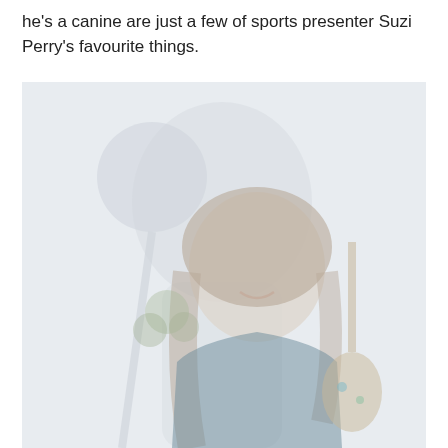he's a canine are just a few of sports presenter Suzi Perry's favourite things.
[Figure (photo): A faded/washed-out photo of a smiling woman with long dark hair, holding what appears to be a guitar or similar instrument, with a lamp and decorative elements visible in the background.]